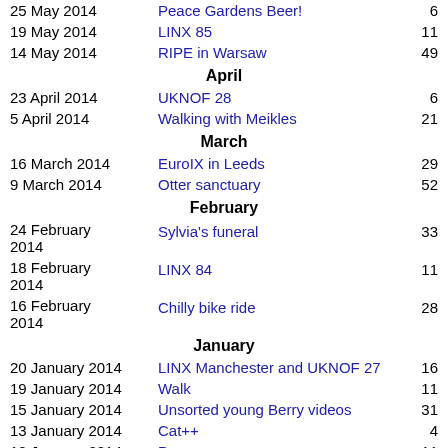25 May 2014 | Peace Gardens Beer! | 6
19 May 2014 | LINX 85 | 11
14 May 2014 | RIPE in Warsaw | 49
April
23 April 2014 | UKNOF 28 | 6
5 April 2014 | Walking with Meikles | 21
March
16 March 2014 | EuroIX in Leeds | 29
9 March 2014 | Otter sanctuary | 52
February
24 February 2014 | Sylvia's funeral | 33
18 February 2014 | LINX 84 | 11
16 February 2014 | Chilly bike ride | 28
January
20 January 2014 | LINX Manchester and UKNOF 27 | 16
19 January 2014 | Walk | 11
15 January 2014 | Unsorted young Berry videos | 31
13 January 2014 | Cat++ | 4
12 January 2014 | Pen... | 11